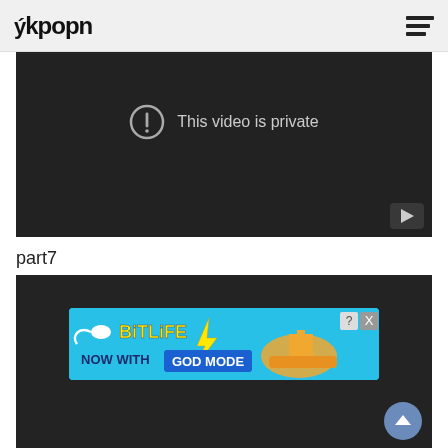Fkpopn
[Figure (screenshot): Embedded YouTube-style video player showing 'This video is private' message with exclamation circle icon, on dark background. Play button icon at bottom right.]
part7
[Figure (screenshot): Dark video embed block with BitLife advertisement banner showing 'NOW WITH GOD MODE' and animated hand pointer graphic. Scroll-to-top circular button at bottom right.]